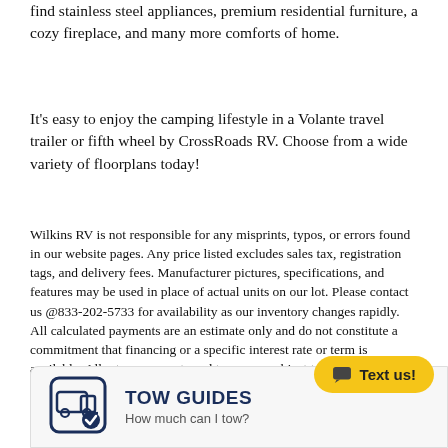find stainless steel appliances, premium residential furniture, a cozy fireplace, and many more comforts of home.
It's easy to enjoy the camping lifestyle in a Volante travel trailer or fifth wheel by CrossRoads RV. Choose from a wide variety of floorplans today!
Wilkins RV is not responsible for any misprints, typos, or errors found in our website pages. Any price listed excludes sales tax, registration tags, and delivery fees. Manufacturer pictures, specifications, and features may be used in place of actual units on our lot. Please contact us @833-202-5733 for availability as our inventory changes rapidly. All calculated payments are an estimate only and do not constitute a commitment that financing or a specific interest rate or term is available. All rates, payments and terms are subject to bank approval.
[Figure (infographic): TOW GUIDES section with truck/trailer icon and checkmark, title 'TOW GUIDES', subtitle 'How much can I tow?', and a yellow 'Text us!' button with chat icon overlay]